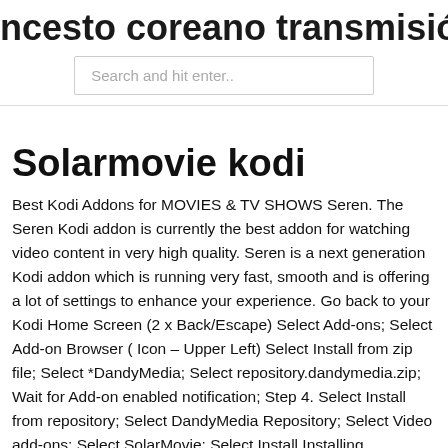ncesto coreano transmisión en vivo
Search and hit enter..
Solarmovie kodi
Best Kodi Addons for MOVIES & TV SHOWS Seren. The Seren Kodi addon is currently the best addon for watching video content in very high quality. Seren is a next generation Kodi addon which is running very fast, smooth and is offering a lot of settings to enhance your experience. Go back to your Kodi Home Screen (2 x Back/Escape) Select Add-ons; Select Add-on Browser ( Icon – Upper Left) Select Install from zip file; Select *DandyMedia; Select repository.dandymedia.zip; Wait for Add-on enabled notification; Step 4. Select Install from repository; Select DandyMedia Repository; Select Video add-ons; Select SolarMovie; Select Install Installing SolarMovie on Kodi Start Kodi Click the gear icon to enter the System menu.